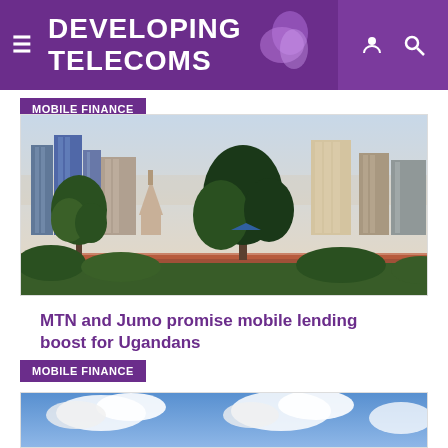DEVELOPING TELECOMS
MOBILE FINANCE
[Figure (photo): Aerial/elevated view of an African city skyline with modern buildings, trees, and red-roofed structures in the foreground, likely Kampala, Uganda]
MTN and Jumo promise mobile lending boost for Ugandans
MOBILE FINANCE
[Figure (photo): Partial view of a blue sky with clouds, bottom of a second article image]